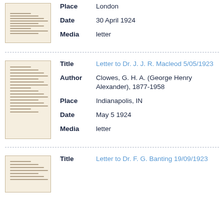[Figure (photo): Thumbnail image of a letter document, top record]
Place: London
Date: 30 April 1924
Media: letter
[Figure (photo): Thumbnail image of a typed letter document, second record]
Title: Letter to Dr. J. J. R. Macleod 5/05/1923
Author: Clowes, G. H. A. (George Henry Alexander), 1877-1958
Place: Indianapolis, IN
Date: May 5 1924
Media: letter
[Figure (photo): Thumbnail image of a typed letter document, third record]
Title: Letter to Dr. F. G. Banting 19/09/1923